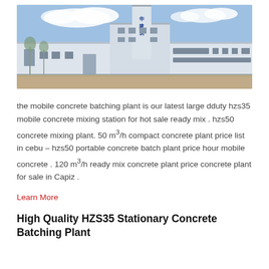[Figure (photo): Exterior photo of a large white industrial concrete batching plant building with a tall tower structure, blue sky with clouds, and a paved lot in front.]
the mobile concrete batching plant is our latest large dduty hzs35 mobile concrete mixing station for hot sale ready mix . hzs50 concrete mixing plant. 50 m³/h compact concrete plant price list in cebu – hzs50 portable concrete batch plant price hour mobile concrete . 120 m³/h ready mix concrete plant price concrete plant for sale in Capiz .
Learn More
High Quality HZS35 Stationary Concrete Batching Plant